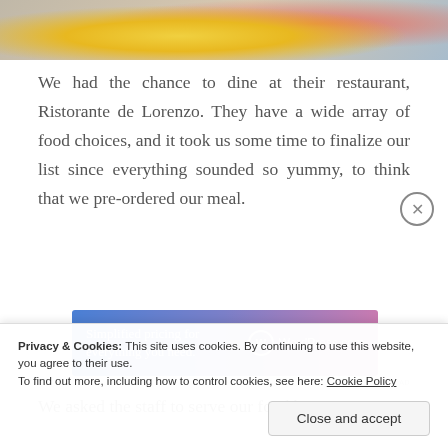[Figure (photo): Partial photo showing a person in a yellow floral outfit in a colorful restaurant setting]
We had the chance to dine at their restaurant, Ristorante de Lorenzo. They have a wide array of food choices, and it took us some time to finalize our list since everything sounded so yummy, to think that we pre-ordered our meal.
[Figure (other): WordPress.com advertisement banner: 'Simplified pricing for everything you need. WordPress.com']
REPORT THIS AD
We asked the staff to serve our food by 7pm, since
Privacy & Cookies: This site uses cookies. By continuing to use this website, you agree to their use.
To find out more, including how to control cookies, see here: Cookie Policy
Close and accept